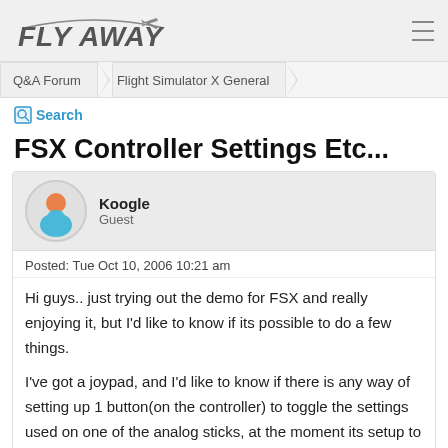FLY AWAY
Q&A Forum  Flight Simulator X General
Search
FSX Controller Settings Etc...
Koogle
Guest
Posted: Tue Oct 10, 2006 10:21 am
Hi guys.. just trying out the demo for FSX and really enjoying it, but I'd like to know if its possible to do a few things.

I've got a joypad, and I'd like to know if there is any way of setting up 1 button(on the controller) to toggle the settings used on one of the analog sticks, at the moment its setup to view